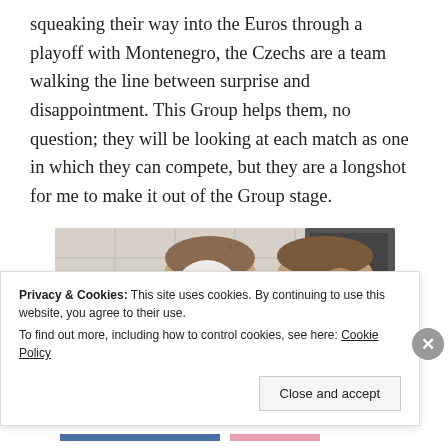squeaking their way into the Euros through a playoff with Montenegro, the Czechs are a team walking the line between surprise and disappointment. This Group helps them, no question; they will be looking at each match as one in which they can compete, but they are a longshot for me to make it out of the Group stage.
[Figure (photo): A man wearing a white face mask being attended to by another man in a medical or sports training setting, with white tiled walls in the background.]
Privacy & Cookies: This site uses cookies. By continuing to use this website, you agree to their use.
To find out more, including how to control cookies, see here: Cookie Policy